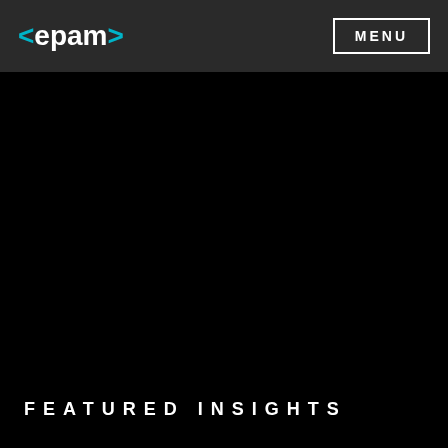<epam> MENU
[Figure (photo): Dark/black background area representing a featured insights hero image section]
FEATURED INSIGHTS